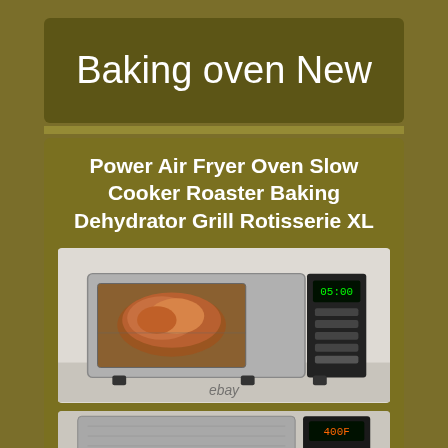Baking oven New
Power Air Fryer Oven Slow Cooker Roaster Baking Dehydrator Grill Rotisserie XL
[Figure (photo): Product photo of a stainless steel Power Air Fryer Oven with digital display showing 05:00, with a roasted chicken visible inside through the glass door, on a white surface. eBay watermark visible at bottom.]
[Figure (photo): Partial product photo of the Power Air Fryer Oven showing top-down or interior view with digital display showing 400F.]